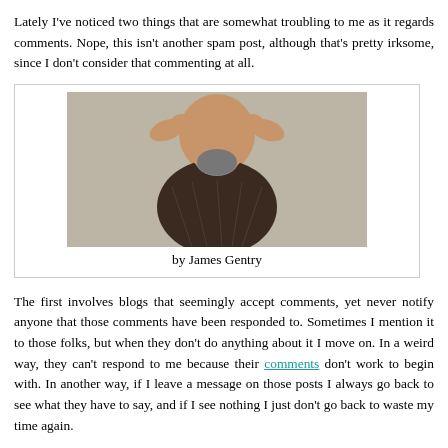Lately I've noticed two things that are somewhat troubling to me as it regards comments. Nope, this isn't another spam post, although that's pretty irksome, since I don't consider that commenting at all.
[Figure (photo): A bald man with a beard holding his hands over his ears, with a newspaper background. Caption: by James Gentry]
The first involves blogs that seemingly accept comments, yet never notify anyone that those comments have been responded to. Sometimes I mention it to those folks, but when they don't do anything about it I move on. In a weird way, they can't respond to me because their comments don't work to begin with. In another way, if I leave a message on those posts I always go back to see what they have to say, and if I see nothing I just don't go back to waste my time again.
The second are posts that either close comments right up front or close them within a few days of posting their article. We all get kind of busy, and sometimes it takes me a week to finally get to check out a bunch of blogs, and I hate when I